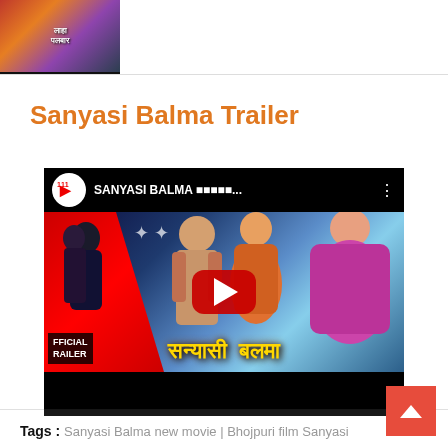[Figure (screenshot): Thumbnail image from a Bhojpuri movie, partially visible at top-left corner]
Sanyasi Balma Trailer
[Figure (screenshot): YouTube video embed thumbnail for Sanyasi Balma Official Trailer, showing Bollywood/Bhojpuri movie actors with Hindi title text and YouTube play button overlay]
Tags : Sanyasi Balma new movie | Bhojpuri film Sanyasi